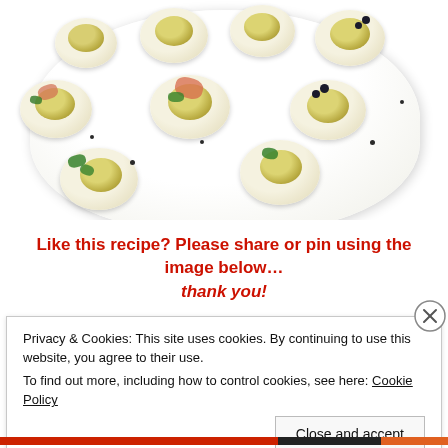[Figure (photo): A white plate filled with deviled eggs topped with various garnishes including smoked salmon, caviar, and fresh herbs, arranged on a white serving dish with black pepper scattered around.]
Like this recipe? Please share or pin using the image below… thank you!
Privacy & Cookies: This site uses cookies. By continuing to use this website, you agree to their use.
To find out more, including how to control cookies, see here: Cookie Policy
Close and accept